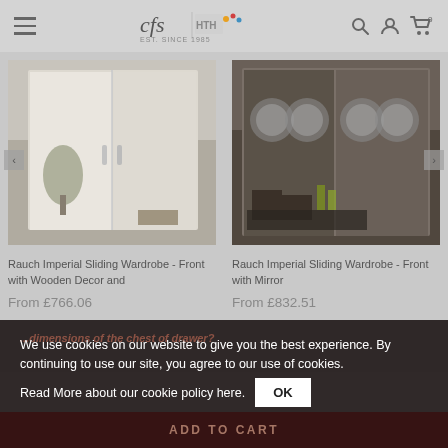cfs HTH EST. SINCE 1985
[Figure (screenshot): Product image of Rauch Imperial Sliding Wardrobe - Front with Wooden Decor and light interior, cream/beige tones]
Rauch Imperial Sliding Wardrobe - Front with Wooden Decor and
From £766.06
[Figure (screenshot): Product image of Rauch Imperial Sliding Wardrobe - Front with Mirror, dark modern style with decorative circular mirror panels]
Rauch Imperial Sliding Wardrobe - Front with Mirror
From £832.51
We use cookies on our website to give you the best experience. By continuing to use our site, you agree to our use of cookies.
Read More about our cookie policy here.
dimensions of the chest of drawer?
ADD TO CART